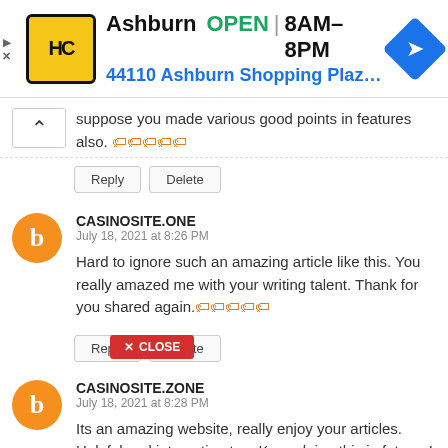[Figure (other): Ad banner for HC store in Ashburn, showing logo, OPEN status, hours 8AM-8PM, address 44110 Ashburn Shopping Plaz..., and navigation icon]
suppose you made various good points in features also. 🏷🏷🏷🏷🏷
Reply | Delete
CASINOSITE.ONE
July 18, 2021 at 8:26 PM
Hard to ignore such an amazing article like this. You really amazed me with your writing talent. Thank for you shared again.🏷🏷🏷🏷🏷
Reply | Delete
CASINOSITE.ZONE
July 18, 2021 at 8:28 PM
Its an amazing website, really enjoy your articles. Helpful and interesting too. Keep doing this in future. I will